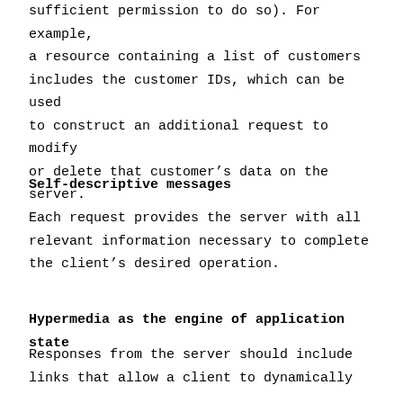sufficient permission to do so). For example, a resource containing a list of customers includes the customer IDs, which can be used to construct an additional request to modify or delete that customer's data on the server.
Self-descriptive messages
Each request provides the server with all relevant information necessary to complete the client's desired operation.
Hypermedia as the engine of application state
Responses from the server should include links that allow a client to dynamically